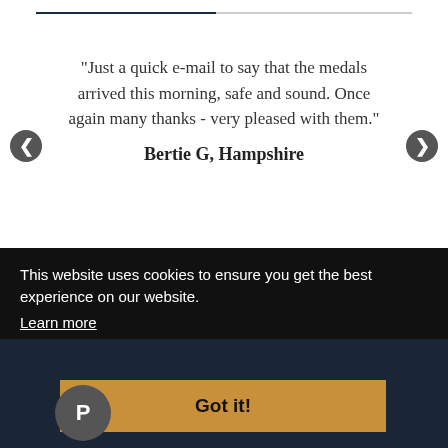[Figure (other): Progress bar slider at top of page, partially filled]
“Just a quick e-mail to say that the medals arrived this morning, safe and sound. Once again many thanks - very pleased with them.”
Bertie G, Hampshire
This website uses cookies to ensure you get the best experience on our website.
Learn more
Information
Lay Away
Team
Got it!
g to Sell?
Testimonials